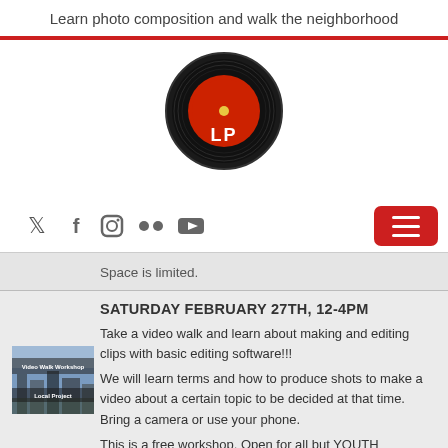Learn photo composition and walk the neighborhood
[Figure (logo): LP vinyl record logo — black record with red label and yellow center dot, white text 'LP']
[Figure (infographic): Social media icons: Twitter, Facebook, Instagram, Flickr, YouTube; hamburger menu button (red)]
Space is limited.
SATURDAY FEBRUARY 27TH, 12-4PM
Take a video walk and learn about making and editing clips with basic editing software!!!
[Figure (photo): Thumbnail image labeled 'Video Walk Workshop Local Project' showing cityscape]
We will learn terms and how to produce shots to make a video about a certain topic to be decided at that time. Bring a camera or use your phone.
This is a free workshop. Open for all but YOUTH participation is encouraged.